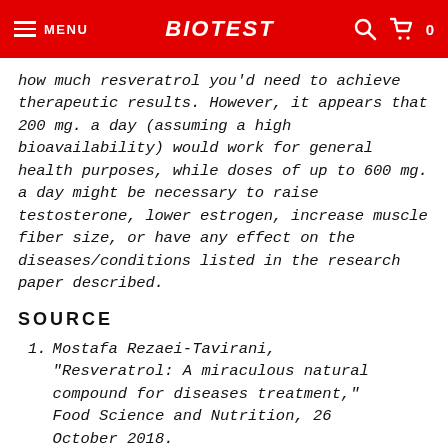MENU | BIOTEST
how much resveratrol you'd need to achieve therapeutic results. However, it appears that 200 mg. a day (assuming a high bioavailability) would work for general health purposes, while doses of up to 600 mg. a day might be necessary to raise testosterone, lower estrogen, increase muscle fiber size, or have any effect on the diseases/conditions listed in the research paper described.
SOURCE
1. Mostafa Rezaei-Tavirani, "Resveratrol: A miraculous natural compound for diseases treatment," Food Science and Nutrition, 26 October 2018.